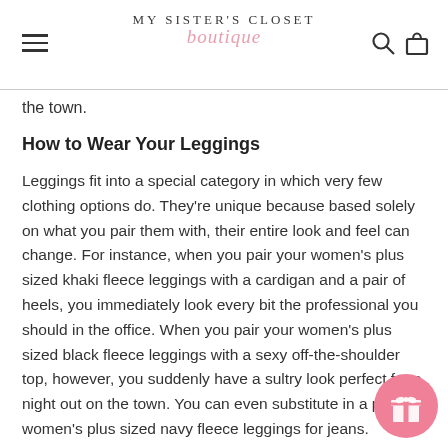MY SISTER'S CLOSET boutique
the town.
How to Wear Your Leggings
Leggings fit into a special category in which very few clothing options do. They're unique because based solely on what you pair them with, their entire look and feel can change. For instance, when you pair your women's plus sized khaki fleece leggings with a cardigan and a pair of heels, you immediately look every bit the professional you should in the office. When you pair your women's plus sized black fleece leggings with a sexy off-the-shoulder top, however, you suddenly have a sultry look perfect for a night out on the town. You can even substitute in a pair of women's plus sized navy fleece leggings for jeans.